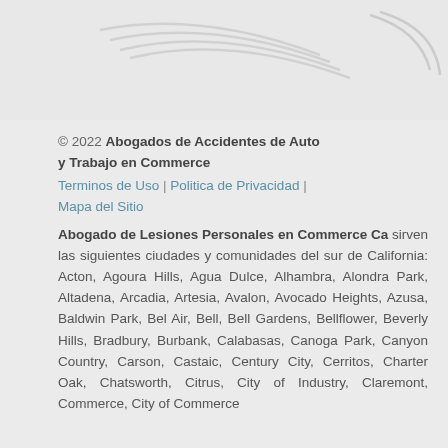[Figure (logo): Decorative logo graphic with curved lines and shapes in light gray on a light gray background, visible at the top of the page]
© 2022 Abogados de Accidentes de Auto y Trabajo en Commerce
Terminos de Uso | Politica de Privacidad | Mapa del Sitio
Abogado de Lesiones Personales en Commerce Ca sirven las siguientes ciudades y comunidades del sur de California: Acton, Agoura Hills, Agua Dulce, Alhambra, Alondra Park, Altadena, Arcadia, Artesia, Avalon, Avocado Heights, Azusa, Baldwin Park, Bel Air, Bell, Bell Gardens, Bellflower, Beverly Hills, Bradbury, Burbank, Calabasas, Canoga Park, Canyon Country, Carson, Castaic, Century City, Cerritos, Charter Oak, Chatsworth, Citrus, City of Industry, Claremont, Commerce, City of Commerce